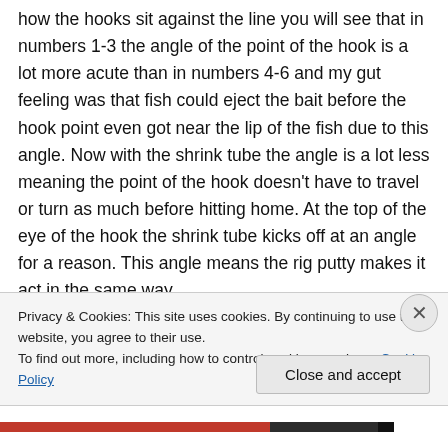how the hooks sit against the line you will see that in numbers 1-3 the angle of the point of the hook is a lot more acute than in numbers 4-6 and my gut feeling was that fish could eject the bait before the hook point even got near the lip of the fish due to this angle. Now with the shrink tube the angle is a lot less meaning the point of the hook doesn't have to travel or turn as much before hitting home. At the top of the eye of the hook the shrink tube kicks off at an angle for a reason. This angle means the rig putty makes it act in the same way
Privacy & Cookies: This site uses cookies. By continuing to use this website, you agree to their use.
To find out more, including how to control cookies, see here: Cookie Policy